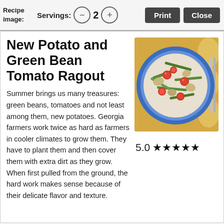Recipe Image:  Servings: – 2 +  Print  Close
New Potato and Green Bean Tomato Ragout
Summer brings us many treasures: green beans, tomatoes and not least among them, new potatoes. Georgia farmers work twice as hard as farmers in cooler climates to grow them. They have to plant them and then cover them with extra dirt as they grow. When first pulled from the ground, the hard work makes sense because of their delicate flavor and texture.
[Figure (photo): Top-down photo of a blue-rimmed plate filled with a vegetable ragout of green beans, tomatoes, potatoes, and other vegetables, on a yellow patterned background with silverware visible on the right.]
5.0 ★★★★★